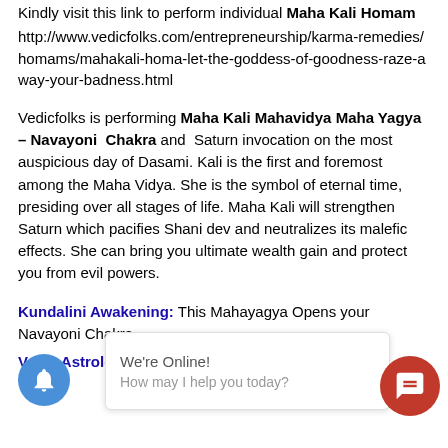Kindly visit this link to perform individual Maha Kali Homam http://www.vedicfolks.com/entrepreneurship/karma-remedies/homams/mahakali-homa-let-the-goddess-of-goodness-raze-away-your-badness.html
Vedicfolks is performing Maha Kali Mahavidya Maha Yagya – Navayoni Chakra and Saturn invocation on the most auspicious day of Dasami. Kali is the first and foremost among the Maha Vidya. She is the symbol of eternal time, presiding over all stages of life. Maha Kali will strengthen Saturn which pacifies Shani dev and neutralizes its malefic effects. She can bring you ultimate wealth gain and protect you from evil powers.
Kundalini Awakening: This Mahayagya Opens your Navayoni Chakra
Vedic Astrology: Saturn will be strengthened in the